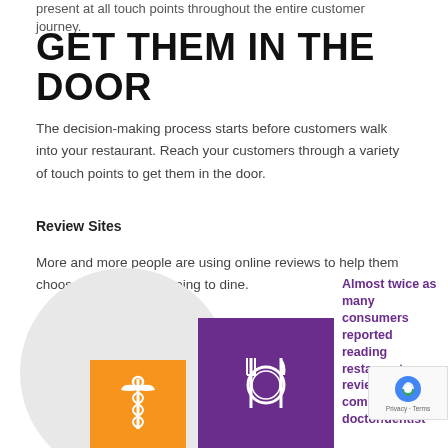present at all touch points throughout the entire customer journey.
GET THEM IN THE DOOR
The decision-making process starts before customers walk into your restaurant. Reach your customers through a variety of touch points to get them in the door.
Review Sites
More and more people are using online reviews to help them choose where they're going to dine.
[Figure (infographic): Infographic showing a gray circle background with an orange box containing a medical caduceus icon and a purple box with a plate/fork/knife icon, alongside text stating 'Almost twice as many consumers reported reading restaurant reviews compared to doctor/dentist']